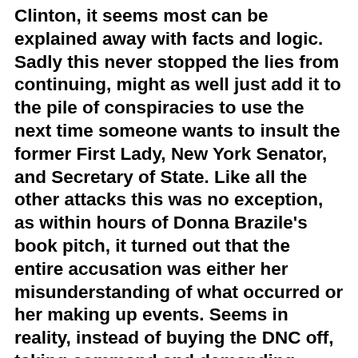Clinton, it seems most can be explained away with facts and logic. Sadly this never stopped the lies from continuing, might as well just add it to the pile of conspiracies to use the next time someone wants to insult the former First Lady, New York Senator, and Secretary of State. Like all the other attacks this was no exception, as within hours of Donna Brazile's book pitch, it turned out that the entire accusation was either her misunderstanding of what occurred or her making up events. Seems in reality, instead of buying the DNC off, taking command and demanding power, as Donna spewed, Hillary saved them. President Barach Obama, had pretty much left the DNC bankrupt and in debt to the tune of millions of dollars, and Hillary's fund raising was what saved it from going under. After her bombshell was etched in the minds of everyone, the second explosion occurred making